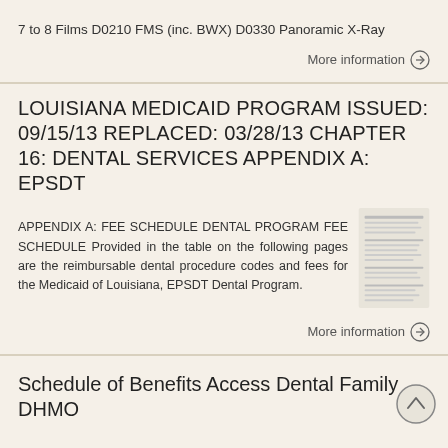7 to 8 Films D0210 FMS (inc. BWX) D0330 Panoramic X-Ray
More information →
LOUISIANA MEDICAID PROGRAM ISSUED: 09/15/13 REPLACED: 03/28/13 CHAPTER 16: DENTAL SERVICES APPENDIX A: EPSDT
APPENDIX A: FEE SCHEDULE DENTAL PROGRAM FEE SCHEDULE Provided in the table on the following pages are the reimbursable dental procedure codes and fees for the Medicaid of Louisiana, EPSDT Dental Program.
More information →
Schedule of Benefits Access Dental Family DHMO